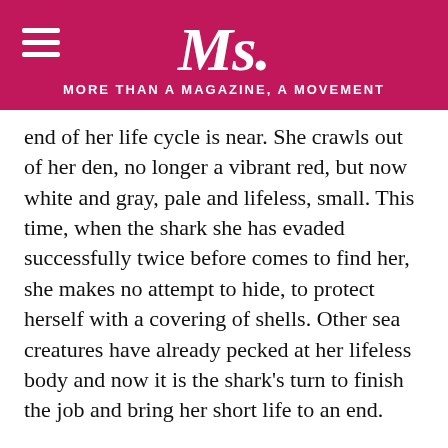Ms. MORE THAN A MAGAZINE, A MOVEMENT
end of her life cycle is near. She crawls out of her den, no longer a vibrant red, but now white and gray, pale and lifeless, small. This time, when the shark she has evaded successfully twice before comes to find her, she makes no attempt to hide, to protect herself with a covering of shells. Other sea creatures have already pecked at her lifeless body and now it is the shark’s turn to finish the job and bring her short life to an end.
Foster watches, feeling it would be inappropriate for him to step in and it would probably not matter anyway, given what little strength she has left. He mourns her, yes, but also sees her selfless act as beautiful, commenting that she is “sacrificing her